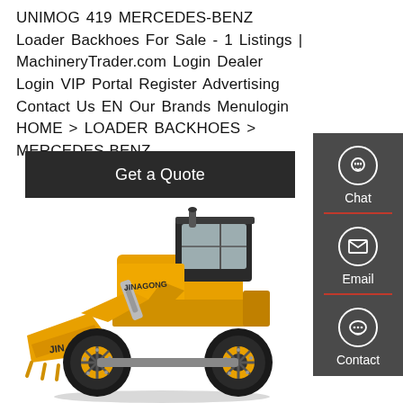UNIMOG 419 MERCEDES-BENZ Loader Backhoes For Sale - 1 Listings | MachineryTrader.com Login Dealer Login VIP Portal Register Advertising Contact Us EN Our Brands Menulogin HOME > LOADER BACKHOES > MERCEDES-BENZ
[Figure (other): Dark button with text 'Get a Quote']
[Figure (photo): Yellow JINAGONG brand front loader/wheel loader construction machine on white background]